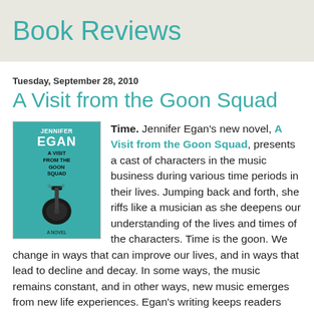Book Reviews
Tuesday, September 28, 2010
A Visit from the Goon Squad
[Figure (illustration): Book cover of 'A Visit from the Goon Squad' by Jennifer Egan, teal background with a guitar headstock image]
Time. Jennifer Egan's new novel, A Visit from the Goon Squad, presents a cast of characters in the music business during various time periods in their lives. Jumping back and forth, she riffs like a musician as she deepens our understanding of the lives and times of the characters. Time is the goon. We change in ways that can improve our lives, and in ways that lead to decline and decay. In some ways, the music remains constant, and in other ways, new music emerges from new life experiences. Egan's writing keeps readers engaged, provided one remains patient with the shifting time periods. Any reader who enjoys novels that reveal insights into our human condition will likely enjoy this book.